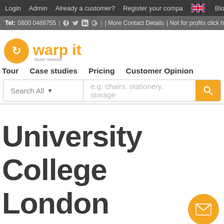Login | Admin | Already a customer? | Register your company | Blog
Tel: 0800 0488755 | More Contact Details | Not for profits click here
[Figure (logo): Warp It reuse network logo — orange circle with white arrows and orange text 'warp it']
Tour  Case studies  Pricing  Customer Opinion
[Figure (screenshot): Search bar with 'Search All' dropdown and placeholder text 'e.g. chairs, stationery, storage' and orange search button]
University College London